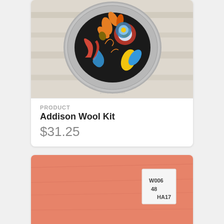[Figure (photo): A decorative plate with folk art floral design on black background featuring orange, red, blue, and yellow flowers and swirls. The plate has a pewter/silver rim. A handwritten watermark reads 'Granny's Legacy Patterns' at the bottom.]
PRODUCT
Addison Wool Kit
$31.25
[Figure (photo): A piece of coral/salmon-colored wool fabric with a small white label tag in the upper right area showing handwritten text 'W006 48 HA17'.]